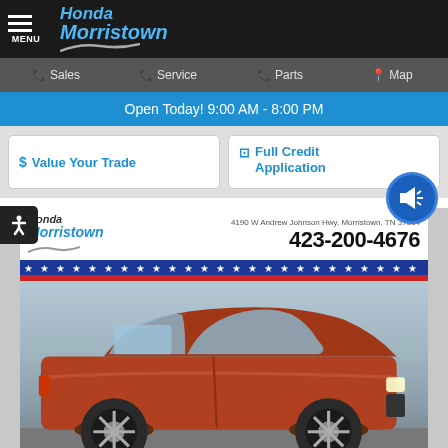Honda Morristown
Sales  Service  Parts  Map
Open Today! 9:00 AM - 8:00 PM
$ Value Your Trade
Full Credit Application
[Figure (photo): Honda Morristown dealership advertisement showing a red/orange Honda HR-V SUV with dealer logo, address 4190 W Andrew Johnson Hwy, Morristown, TN 37814, phone number 423-200-4676, and patriotic stars banner decoration]